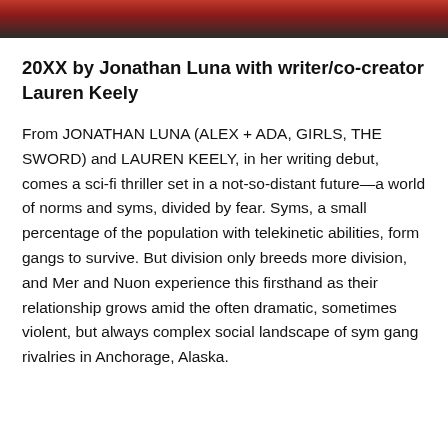[Figure (photo): Horizontal image strip at top of page, partially cropped, showing figures with dark and reddish tones]
20XX by Jonathan Luna with writer/co-creator Lauren Keely
From JONATHAN LUNA (ALEX + ADA, GIRLS, THE SWORD) and LAUREN KEELY, in her writing debut, comes a sci-fi thriller set in a not-so-distant future—a world of norms and syms, divided by fear. Syms, a small percentage of the population with telekinetic abilities, form gangs to survive. But division only breeds more division, and Mer and Nuon experience this firsthand as their relationship grows amid the often dramatic, sometimes violent, but always complex social landscape of sym gang rivalries in Anchorage, Alaska.